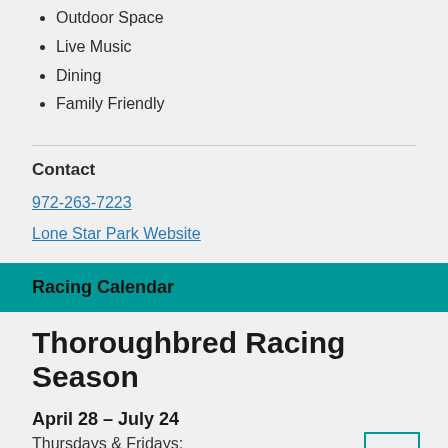Outdoor Space
Live Music
Dining
Family Friendly
Contact
972-263-7223
Lone Star Park Website
Racing Calendar
Thoroughbred Racing Season
April 28 – July 24
Thursdays & Fridays:
Gates open at 5 p.m. | First Live race at 6:35